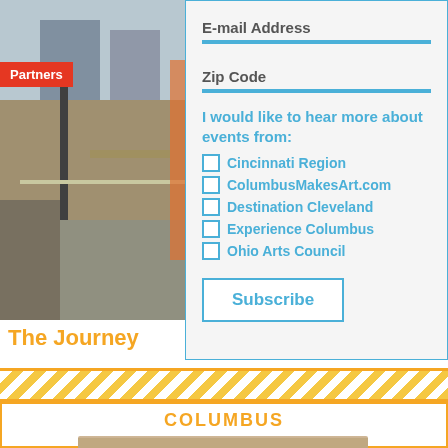[Figure (photo): Street scene photo showing an urban intersection with buildings, a traffic light pole, and street markings]
Partners
E-mail Address
Zip Code
I would like to hear more about events from:
Cincinnati Region
ColumbusMakesArt.com
Destination Cleveland
Experience Columbus
Ohio Arts Council
Subscribe
The Journe
Ryan "Yanoe" Sa
Mural
COLUMBUS
[Figure (photo): Partially visible photo at the bottom of the Columbus section]